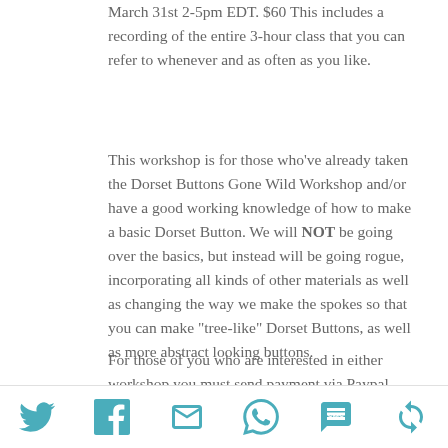March 31st 2-5pm EDT. $60 This includes a recording of the entire 3-hour class that you can refer to whenever and as often as you like.
This workshop is for those who’ve already taken the Dorset Buttons Gone Wild Workshop and/or have a good working knowledge of how to make a basic Dorset Button.  We will NOT be going over the basics, but instead will be going rogue, incorporating all kinds of other materials as well as changing the way we make the spokes so that you can make “tree-like” Dorset Buttons, as well as more abstract looking buttons.
For those of you who are interested in either workshop you must send payment via Paypal, Venmo or Zelle using my email address: ariane@arianezurcher.com and be sure to specify which class you’re signing up for.  Be sure to tell
[Figure (other): Social share icons row: Twitter bird, Facebook f, Email envelope, WhatsApp phone, SMS bubble, Share/refresh icon — all in teal/dark-cyan color]